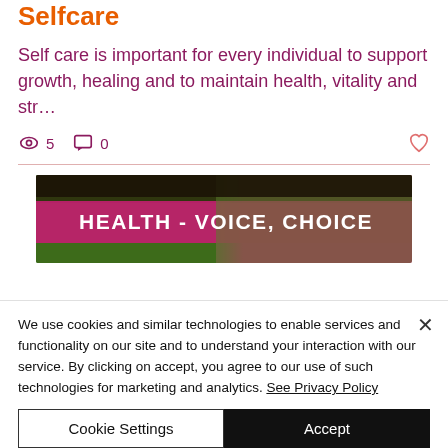Selfcare
Self care is important for every individual to support growth, healing and to maintain health, vitality and str…
👁 5  💬 0  ♡
[Figure (photo): Banner image with pink/magenta overlay and green background showing text 'HEALTH - VOICE, CHOICE']
We use cookies and similar technologies to enable services and functionality on our site and to understand your interaction with our service. By clicking on accept, you agree to our use of such technologies for marketing and analytics. See Privacy Policy
Cookie Settings | Accept